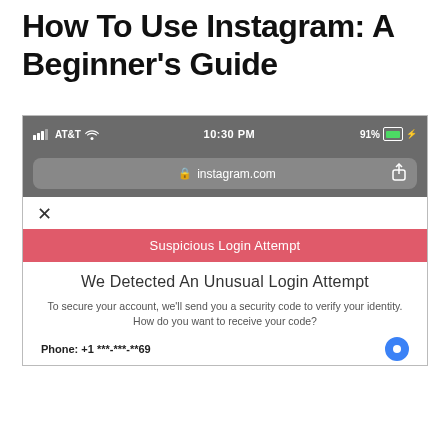How To Use Instagram: A Beginner’s Guide
[Figure (screenshot): Screenshot of Instagram suspicious login attempt page in iOS browser (AT&T, 10:30 PM, 91% battery), showing URL bar with instagram.com, a red banner reading 'Suspicious Login Attempt', heading 'We Detected An Unusual Login Attempt', body text about sending a security code, and a phone option with partial number '+1 ***-***-**69']